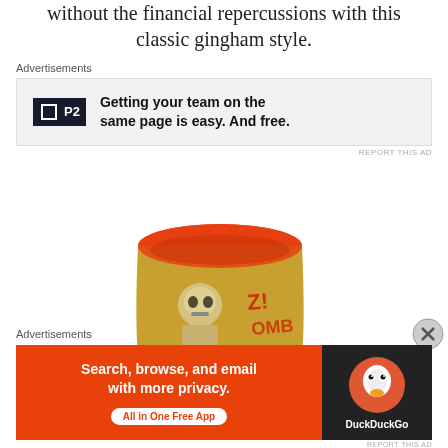without the financial repercussions with this classic gingham style.
Advertisements
[Figure (screenshot): Advertisement banner for P2 with logo showing a dark square icon and 'P2' text, with bold text reading 'Getting your team on the same page is easy. And free.']
REPORT THIS AD
[Figure (photo): A cylindrical cup/tumbler with orange/red top rim and a zombie skeleton graphic design on the body, on a white background. Partial view of a gray item at bottom left and black dice with green dots at bottom right.]
Advertisements
[Figure (screenshot): Advertisement banner for DuckDuckGo app on orange background reading 'Search, browse, and email with more privacy. All in One Free App' with DuckDuckGo logo on dark right panel.]
REPORT THIS AD